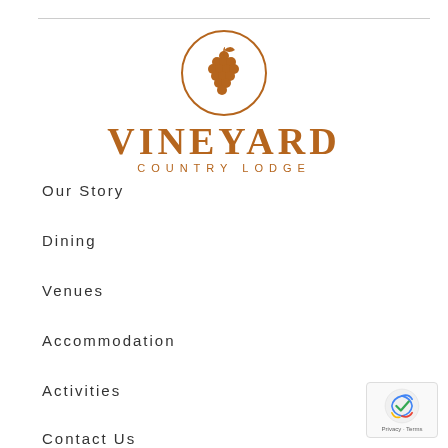[Figure (logo): Vineyard Country Lodge logo: circular grape cluster icon above bold serif VINEYARD text and spaced COUNTRY LODGE subtitle in terracotta/brown color]
Our Story
Dining
Venues
Accommodation
Activities
Contact Us